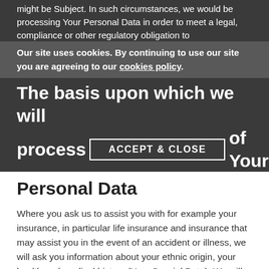might be Subject. In such circumstances, we would be processing Your Personal Data in order to meet a legal, compliance or other regulatory obligation to
Our site uses cookies. By continuing to use our site you are agreeing to our cookies policy.
The basis upon which we will process certain parts of Your Personal Data
Where you ask us to assist you with for example your insurance, in particular life insurance and insurance that may assist you in the event of an accident or illness, we will ask you information about your ethnic origin, your health and medical history (Your Special Data). We will record and use Your Special Data in order to make enquiries of providers in relation to insurance products that may meet your needs and to provide you with advice/guidance regarding the